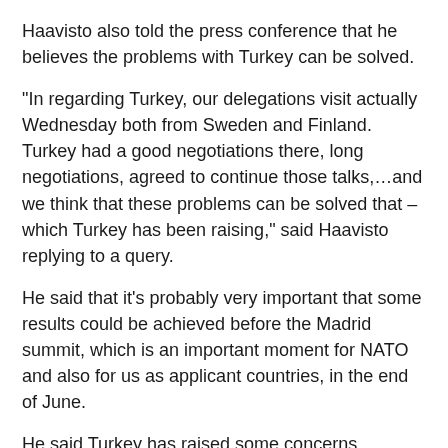Haavisto also told the press conference that he believes the problems with Turkey can be solved.
“In regarding Turkey, our delegations visit actually Wednesday both from Sweden and Finland. Turkey had a good negotiations there, long negotiations, agreed to continue those talks,…and we think that these problems can be solved that – which Turkey has been raising,” said Haavisto replying to a query.
He said that it’s probably very important that some results could be achieved before the Madrid summit, which is an important moment for NATO and also for us as applicant countries, in the end of June.
He said Turkey has raised some concerns regarding the PKK issue, terrorist issues, and so forth.
“ The PKK is a forbidden organization in Finland. We are part of those solutions in the European Union, where terrorist organizations are listed. It’s the same in Sweden and so forth, and these are the answers that we are giving, of course, in this case to Turkey,” said Haavisto.
“We, of course, hope that the process goes smoothly and rapidly because this – what we call the grey zone between the – putting the application in and finally getting approved as NATO members, of